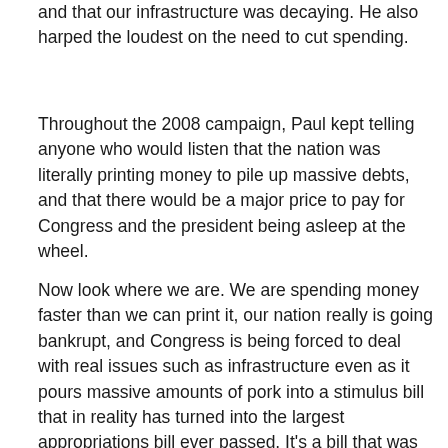and that our infrastructure was decaying. He also harped the loudest on the need to cut spending.
Throughout the 2008 campaign, Paul kept telling anyone who would listen that the nation was literally printing money to pile up massive debts, and that there would be a major price to pay for Congress and the president being asleep at the wheel.
Now look where we are. We are spending money faster than we can print it, our nation really is going bankrupt, and Congress is being forced to deal with real issues such as infrastructure even as it pours massive amounts of pork into a stimulus bill that in reality has turned into the largest appropriations bill ever passed. It's a bill that was cobbled together in haste by a Congress that didn't even realize we were in trouble as late as November 2007.